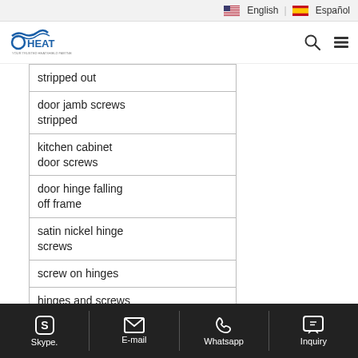English | Español
[Figure (logo): Oheat logo with wave/heat graphic and tagline]
| stripped out |
| door jamb screws stripped |
| kitchen cabinet door screws |
| door hinge falling off frame |
| satin nickel hinge screws |
| screw on hinges |
| hinges and screws |
| kitchen cabinet door screws loose |
| fixing loose screws |
Skype. | E-mail | Whatsapp | Inquiry